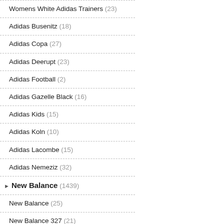Womens White Adidas Trainers (23)
Adidas Busenitz (18)
Adidas Copa (27)
Adidas Deerupt (23)
Adidas Football (2)
Adidas Gazelle Black (16)
Adidas Kids (15)
Adidas Koln (10)
Adidas Lacombe (15)
Adidas Nemeziz (32)
New Balance (1439)
New Balance (25)
New Balance 327 (21)
New Balance 574 (24)
New Balance Shoes (18)
New Balance 500 (31)